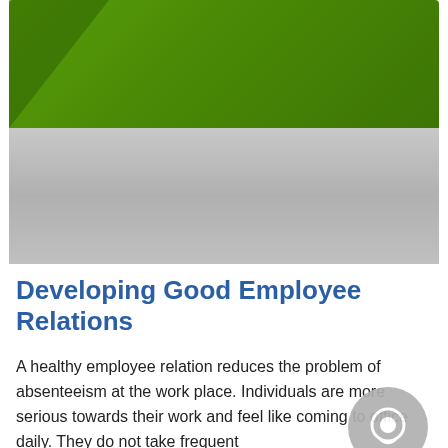[Figure (illustration): Top image area with a green banner/header graphic at the top and a gray gradient area below it, representing a decorative header image for an article page.]
Developing Good Employee Relations
A healthy employee relation reduces the problem of absenteeism at the work place. Individuals are more serious towards their work and feel like coming to office daily. They do not take frequent